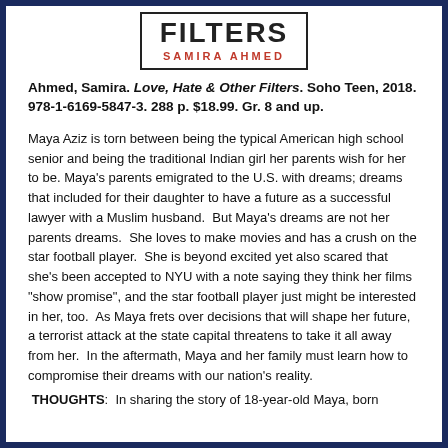[Figure (illustration): Book cover box showing title 'FILTERS' in large bold text and author name 'SAMIRA AHMED' in red spaced caps below, framed by a rectangular border.]
Ahmed, Samira. Love, Hate & Other Filters. Soho Teen, 2018. 978-1-6169-5847-3. 288 p. $18.99. Gr. 8 and up.
Maya Aziz is torn between being the typical American high school senior and being the traditional Indian girl her parents wish for her to be. Maya’s parents emigrated to the U.S. with dreams; dreams that included for their daughter to have a future as a successful lawyer with a Muslim husband.  But Maya’s dreams are not her parents dreams.  She loves to make movies and has a crush on the star football player.  She is beyond excited yet also scared that she’s been accepted to NYU with a note saying they think her films “show promise”, and the star football player just might be interested in her, too.  As Maya frets over decisions that will shape her future, a terrorist attack at the state capital threatens to take it all away from her.  In the aftermath, Maya and her family must learn how to compromise their dreams with our nation’s reality.
THOUGHTS:  In sharing the story of 18-year-old Maya, born